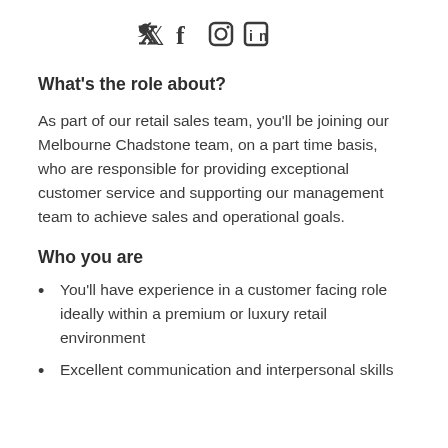Social media icons: Twitter, Facebook, Instagram, LinkedIn
What’s the role about?
As part of our retail sales team, you’ll be joining our Melbourne Chadstone team, on a part time basis, who are responsible for providing exceptional customer service and supporting our management team to achieve sales and operational goals.
Who you are
You’ll have experience in a customer facing role ideally within a premium or luxury retail environment
Excellent communication and interpersonal skills